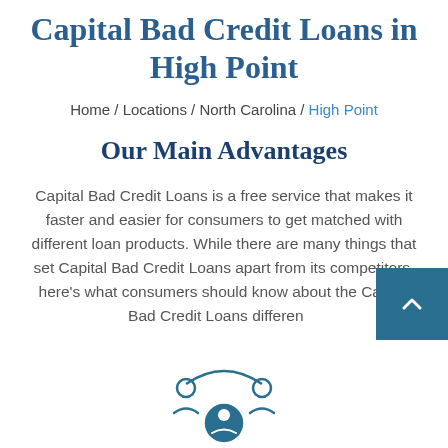Capital Bad Credit Loans in High Point
Home / Locations / North Carolina / High Point
Our Main Advantages
Capital Bad Credit Loans is a free service that makes it faster and easier for consumers to get matched with different loan products. While there are many things that set Capital Bad Credit Loans apart from its competitors, here’s what consumers should know about the Capital Bad Credit Loans difference
[Figure (illustration): Icon showing two people figures connected by an arc, representing a loan matching service illustration, partially visible at bottom of page]